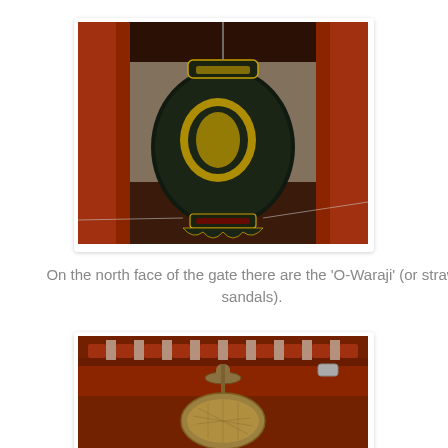[Figure (photo): Close-up photograph of a large black and gold Japanese lantern hanging inside a temple gate with red wooden pillars visible on the sides.]
On the north face of the gate there are the 'O-Waraji' (or straw sandals).
[Figure (photo): Photograph showing the underside of a red Japanese temple gate structure with a large straw sandal (O-Waraji) hanging from it.]